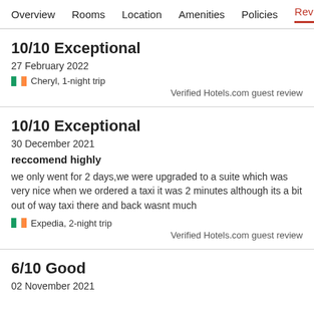Overview  Rooms  Location  Amenities  Policies  Reviews
10/10 Exceptional
27 February 2022
Cheryl, 1-night trip
Verified Hotels.com guest review
10/10 Exceptional
30 December 2021
reccomend highly
we only went for 2 days,we were upgraded to a suite which was very nice when we ordered a taxi it was 2 minutes although its a bit out of way taxi there and back wasnt much
Expedia, 2-night trip
Verified Hotels.com guest review
6/10 Good
02 November 2021